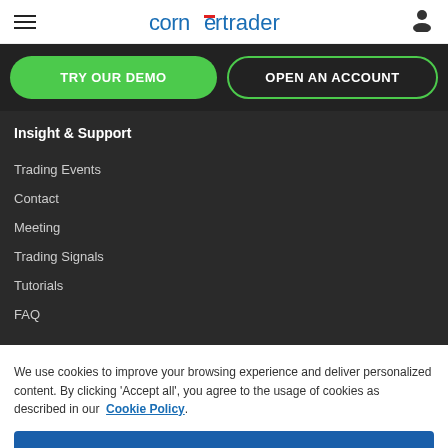cornertrader
TRY OUR DEMO
OPEN AN ACCOUNT
Insight & Support
Trading Events
Contact
Meeting
Trading Signals
Tutorials
FAQ
We use cookies to improve your browsing experience and deliver personalized content. By clicking 'Accept all', you agree to the usage of cookies as described in our Cookie Policy.
Accept all
Cookies settings